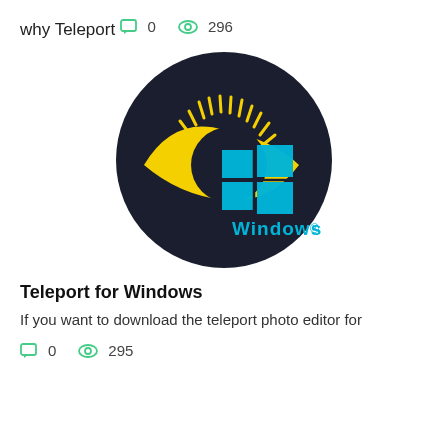why Teleport
0   296
[Figure (logo): Circular dark navy background with a yellow eye/arrow logo overlapping a cyan/blue Windows logo (four-pane window), with 'Windows' text in cyan below the Windows logo.]
Teleport for Windows
If you want to download the teleport photo editor for
0   295